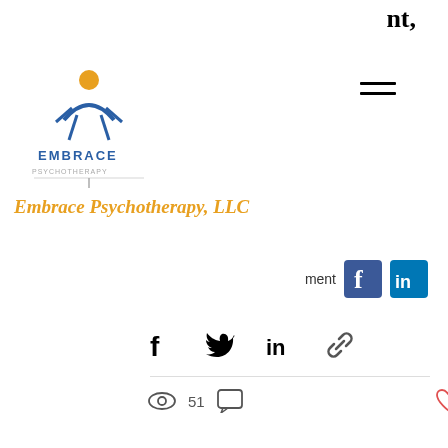nt,
[Figure (logo): Embrace Psychotherapy LLC logo with stylized figure and text]
[Figure (other): Hamburger menu icon (three horizontal lines)]
Embrace Psychotherapy, LLC
[Figure (other): Facebook and LinkedIn social media icons with partial text 'ment']
[Figure (other): Social share icons: Facebook, Twitter, LinkedIn, and link]
51
Recent Posts
See All
[Figure (photo): Two people in a therapy or counseling session, a man with dark hair seen from behind and a smiling woman with short gray hair wearing glasses]